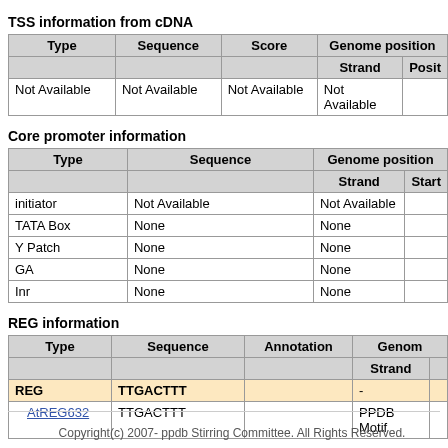TSS information from cDNA
| Type | Sequence | Score | Genome position |  |
| --- | --- | --- | --- | --- |
|  |  |  | Strand | Posit |
| Not Available | Not Available | Not Available | Not Available |  |
Core promoter information
| Type | Sequence | Genome position |  |
| --- | --- | --- | --- |
|  |  | Strand | Start |
| initiator | Not Available | Not Available |  |
| TATA Box | None | None |  |
| Y Patch | None | None |  |
| GA | None | None |  |
| Inr | None | None |  |
REG information
| Type | Sequence | Annotation | Genom |  |
| --- | --- | --- | --- | --- |
|  |  |  | Strand |  |
| REG | TTGACTTT |  | - |  |
| AtREG632 | TTGACTTT |  | PPDB Motif |  |
Copyright(c) 2007- ppdb Stirring Committee. All Rights Reserved.